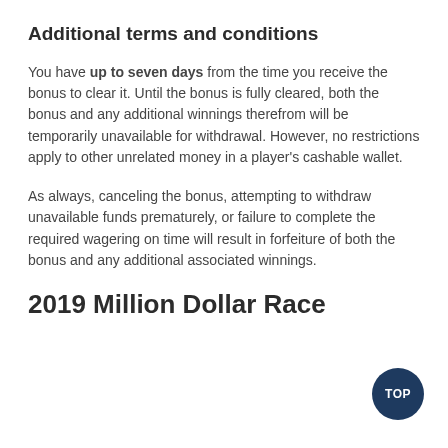Additional terms and conditions
You have up to seven days from the time you receive the bonus to clear it. Until the bonus is fully cleared, both the bonus and any additional winnings therefrom will be temporarily unavailable for withdrawal. However, no restrictions apply to other unrelated money in a player's cashable wallet.
As always, canceling the bonus, attempting to withdraw unavailable funds prematurely, or failure to complete the required wagering on time will result in forfeiture of both the bonus and any additional associated winnings.
2019 Million Dollar Race